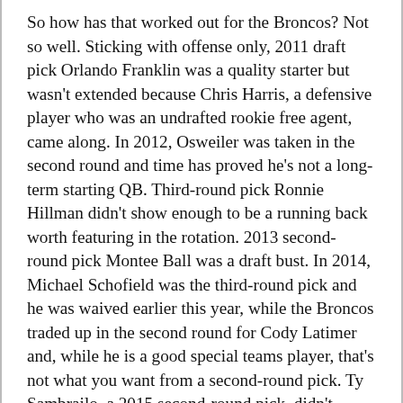So how has that worked out for the Broncos? Not so well. Sticking with offense only, 2011 draft pick Orlando Franklin was a quality starter but wasn't extended because Chris Harris, a defensive player who was an undrafted rookie free agent, came along. In 2012, Osweiler was taken in the second round and time has proved he's not a long-term starting QB. Third-round pick Ronnie Hillman didn't show enough to be a running back worth featuring in the rotation. 2013 second-round pick Montee Ball was a draft bust. In 2014, Michael Schofield was the third-round pick and he was waived earlier this year, while the Broncos traded up in the second round for Cody Latimer and, while he is a good special teams player, that's not what you want from a second-round pick. Ty Sambrailo, a 2015 second-round pick, didn't develop as expected and 2015 third-round pick Jeff Heuerman remains buried on the depth chart.